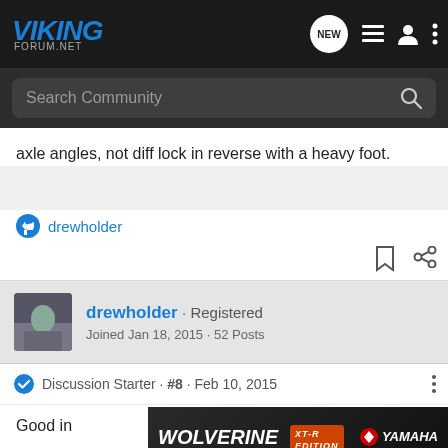VIKING FORUM.NET
Search Community
axle angles, not diff lock in reverse with a heavy foot.
drewholder
drewholder · Registered
Joined Jan 18, 2015 · 52 Posts
Discussion Starter · #8 · Feb 10, 2015
Good in
[Figure (screenshot): Wolverine RMAX4 1000 XT-R Edition Yamaha advertisement banner]